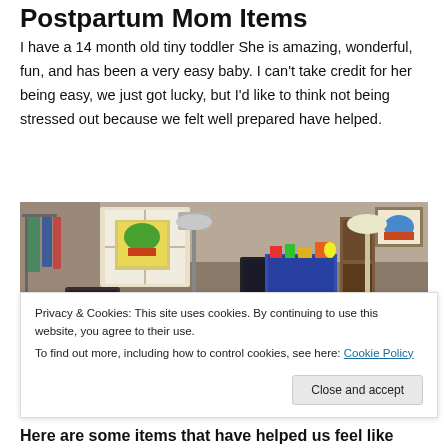Postpartum Mom Items
I have a 14 month old tiny toddler She is amazing, wonderful, fun, and has been a very easy baby. I can't take credit for her being easy, we just got lucky, but I'd like to think not being stressed out because we felt well prepared have helped.
[Figure (photo): Interior room photo showing a living room/nursery space with clothing rack, lamp, window, TV, baby play yard/pen, toys on a blue storage unit, framed pictures on walls.]
Privacy & Cookies: This site uses cookies. By continuing to use this website, you agree to their use.
To find out more, including how to control cookies, see here: Cookie Policy
Here are some items that have helped us feel like